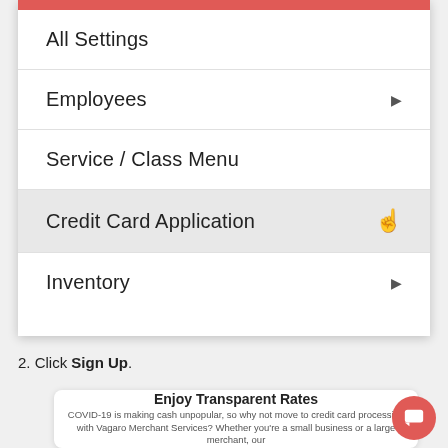[Figure (screenshot): Mobile app settings menu showing items: All Settings, Employees (with arrow), Service / Class Menu, Credit Card Application (highlighted with cursor), Inventory (with arrow)]
2. Click Sign Up.
[Figure (screenshot): Card preview showing 'Enjoy Transparent Rates' heading and text about COVID-19 and Vagaro Merchant Services, with a red chat button overlay]